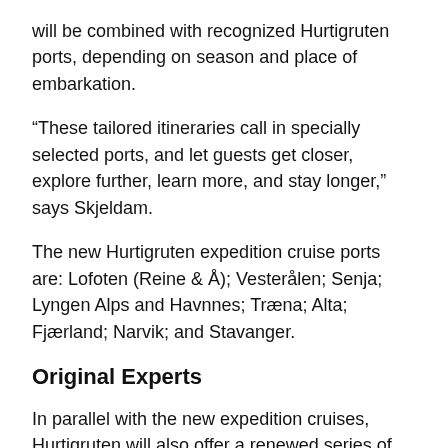will be combined with recognized Hurtigruten ports, depending on season and place of embarkation.
“These tailored itineraries call in specially selected ports, and let guests get closer, explore further, learn more, and stay longer,” says Skjeldam.
The new Hurtigruten expedition cruise ports are: Lofoten (Reine & Å); Vesterålen; Senja; Lyngen Alps and Havnnes; Træna; Alta; Fjærland; Narvik; and Stavanger.
Original Experts
In parallel with the new expedition cruises, Hurtigruten will also offer a renewed series of the original coastal Norway voyage itineraries.
“Calling at all of the traditional 34 ports, as we have since 1893, is a legendary way to visit Norway by sea, and represents a one-of-a-kind opportunity to get up